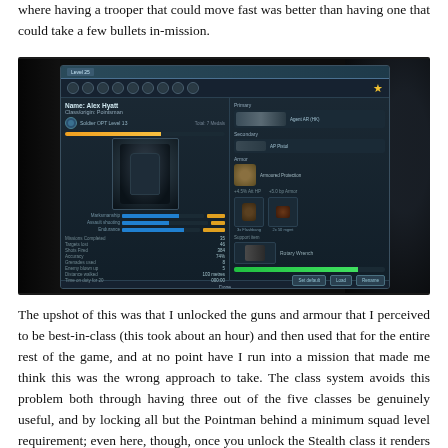where having a trooper that could move fast was better than having one that could take a few bullets in-mission.
[Figure (screenshot): Screenshot of a video game squad/soldier management UI showing a character named Alex Hyatt with class Pointman, equipment loadout including primary weapon, pistol, armour with 'Armoured Protection' label, grenades, a hammer/melee item, HP bar, and stat bars for Marksmanship, Assault shooting, and Endurance.]
The upshot of this was that I unlocked the guns and armour that I perceived to be best-in-class (this took about an hour) and then used that for the entire rest of the game, and at no point have I run into a mission that made me think this was the wrong approach to take. The class system avoids this problem both through having three out of the five classes be genuinely useful, and by locking all but the Pointman behind a minimum squad level requirement; even here, though, once you unlock the Stealth class it renders the Assault and Shotgunner